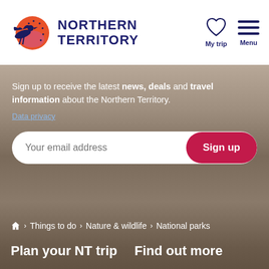NORTHERN TERRITORY
Sign up to receive the latest news, deals and travel information about the Northern Territory.
Data privacy
Your email address
Sign up
🏠 > Things to do > Nature & wildlife > National parks
Plan your NT trip
Find out more